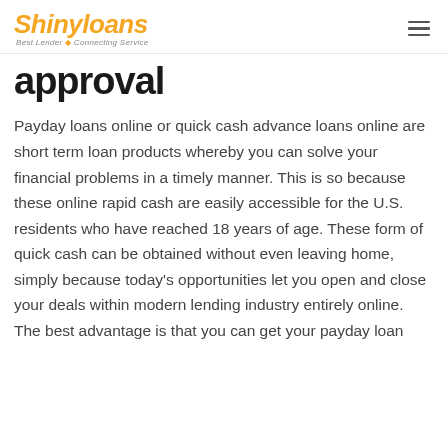Shinyloans Best Lender Connecting Service
approval
Payday loans online or quick cash advance loans online are short term loan products whereby you can solve your financial problems in a timely manner. This is so because these online rapid cash are easily accessible for the U.S. residents who have reached 18 years of age. These form of quick cash can be obtained without even leaving home, simply because today's opportunities let you open and close your deals within modern lending industry entirely online. The best advantage is that you can get your payday loan